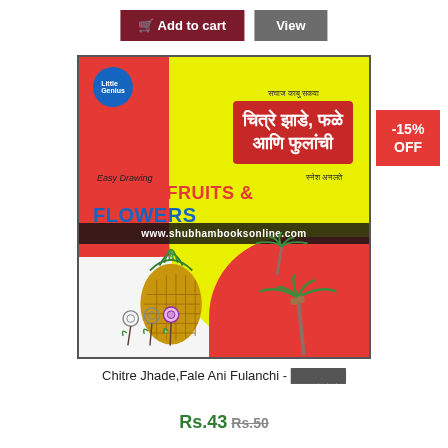[Figure (screenshot): Add to cart and View buttons at the top of a product page]
[Figure (illustration): Book cover of 'Chitre Jhade, Fale Ani Fulanchi' - Easy Drawing Trees, Fruits & Flowers, with Marathi title, red/yellow background, pineapple, palm tree, and rose illustrations, watermark www.shubhambooksonline.com]
Chitre Jhade,Fale Ani Fulanchi - ██████
Rs.43 Rs.50